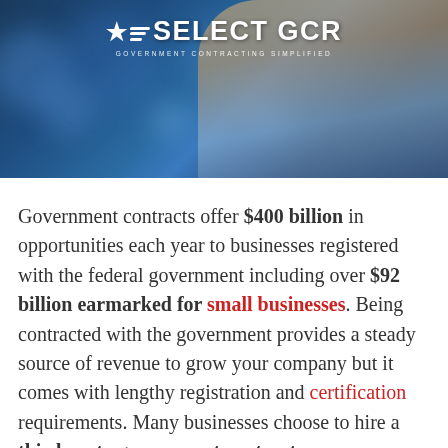[Figure (photo): Hero banner image showing a person's hand/fist against a dark blue bokeh background, with the SELECT GCR logo (star, swoosh lines, text 'SELECT GCR', subtitle 'GOVERNMENT CONTRACTING SIMPLIFIED') overlaid in white at the top center.]
Government contracts offer $400 billion in opportunities each year to businesses registered with the federal government including over $92 billion earmarked for small businesses. Being contracted with the government provides a steady source of revenue to grow your company but it comes with lengthy registration and certification requirements. Many businesses choose to hire a third party government contract